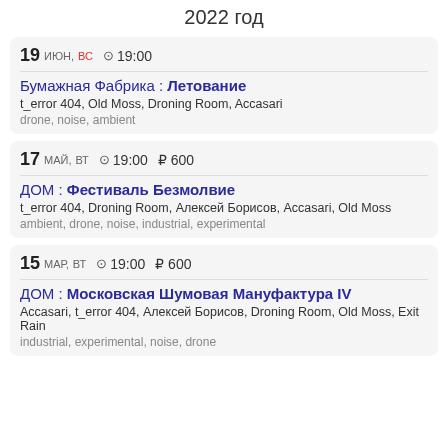2022 год
19 июн, вс  19:00 | Бумажная Фабрика : Летование | t_error 404, Old Moss, Droning Room, Accasari | drone, noise, ambient
17 май, вт  19:00  ₽600 | ДОМ : Фестиваль Безмолвие | t_error 404, Droning Room, Алексей Борисов, Accasari, Old Moss | ambient, drone, noise, industrial, experimental
15 мар, вт  19:00  ₽600 | ДОМ : Московская Шумовая Мануфактура IV | Accasari, t_error 404, Алексей Борисов, Droning Room, Old Moss, Exit Rain | industrial, experimental, noise, drone